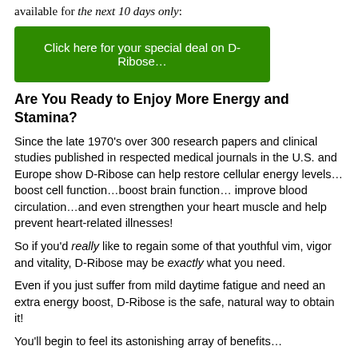available for the next 10 days only:
[Figure (other): Green button: Click here for your special deal on D-Ribose…]
Are You Ready to Enjoy More Energy and Stamina?
Since the late 1970's over 300 research papers and clinical studies published in respected medical journals in the U.S. and Europe show D-Ribose can help restore cellular energy levels… boost cell function…boost brain function… improve blood circulation…and even strengthen your heart muscle and help prevent heart-related illnesses!
So if you'd really like to regain some of that youthful vim, vigor and vitality, D-Ribose may be exactly what you need.
Even if you just suffer from mild daytime fatigue and need an extra energy boost, D-Ribose is the safe, natural way to obtain it!
You'll begin to feel its astonishing array of benefits…